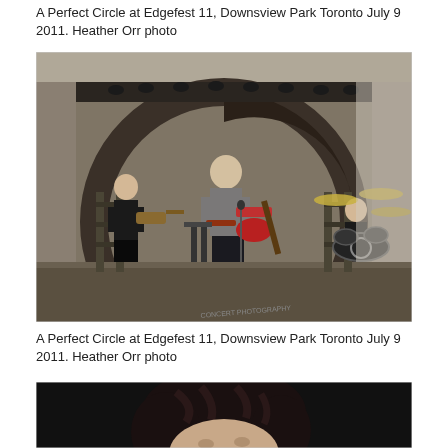A Perfect Circle at Edgefest 11, Downsview Park Toronto July 9 2011. Heather Orr photo
[Figure (photo): Concert photo of A Perfect Circle performing on stage at Edgefest 11, Downsview Park Toronto. A bald guitarist plays a red electric guitar in the center, another guitarist on the left, and a drummer on the right. Large circular crescent-shaped stage prop in background.]
A Perfect Circle at Edgefest 11, Downsview Park Toronto July 9 2011. Heather Orr photo
[Figure (photo): Close-up photo of a person with dark curly hair against a dark background, partially visible at the bottom of the page.]